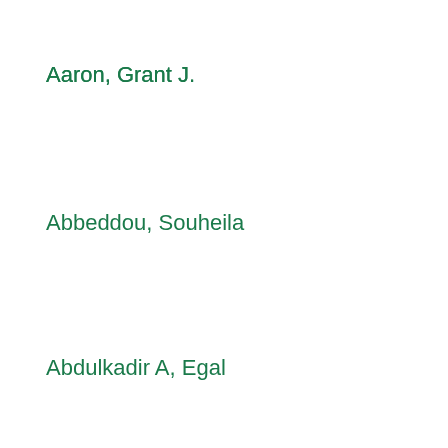Aaron, Grant J.
Abbeddou, Souheila
Abdulkadir A, Egal
Abdulkhabirova, Fatima
Abdullayev, Nuraddin
Abebe, Solomon
Aberman, Noora Lisa